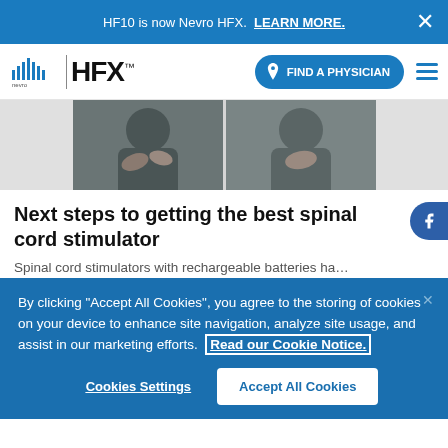HF10 is now Nevro HFX.  LEARN MORE.
[Figure (screenshot): Nevro HFX navigation bar with logo, Find a Physician button, and hamburger menu]
[Figure (photo): Two cropped photos of people in dark shirts, partial torso views]
Next steps to getting the best spinal cord stimulator
Spinal cord stimulators with rechargeable batteries ha...
By clicking “Accept All Cookies”, you agree to the storing of cookies on your device to enhance site navigation, analyze site usage, and assist in our marketing efforts.  Read our Cookie Notice.
Cookies Settings
Accept All Cookies